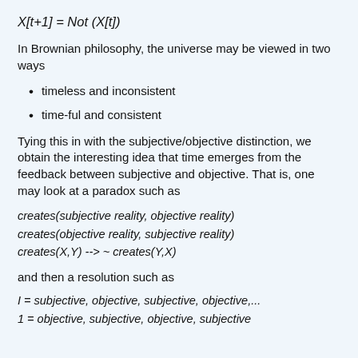In Brownian philosophy, the universe may be viewed in two ways
timeless and inconsistent
time-ful and consistent
Tying this in with the subjective/objective distinction, we obtain the interesting idea that time emerges from the feedback between subjective and objective. That is, one may look at a paradox such as
and then a resolution such as